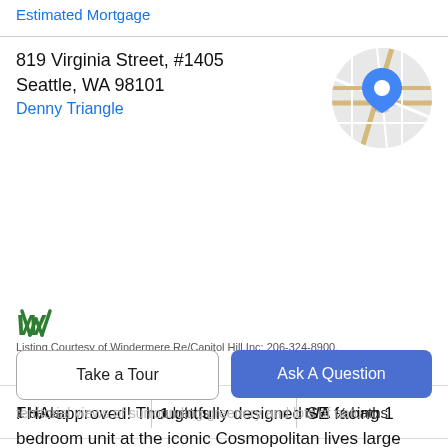Estimated Mortgage
819 Virginia Street, #1405
Seattle, WA 98101
Denny Triangle
[Figure (map): Circular map thumbnail with blue location pin marker showing Seattle area street map]
| 1 beds | 1 baths | N/A ½ baths |
| N/A acres | 738 sqft | $657 / sqft |
[Figure (logo): Windermere stylized green logo mark]
Listing Courtesy of Windermere Re/Capitol Hill,Inc: 206-324-8900.
Property Description
FHA-approved! Thoughtfully designed SE facing 1 bedroom unit at the iconic Cosmopolitan lives large with
Take a Tour
Ask A Question
territorial views of surrounding greenery and lots of natu...